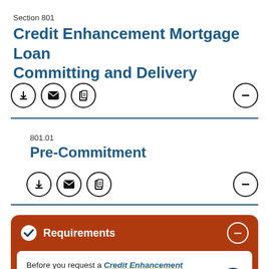Section 801
Credit Enhancement Mortgage Loan Committing and Delivery
801.01
Pre-Commitment
Requirements
Before you request a Credit Enhancement Mortgage Loan Commitment, you must ensure: